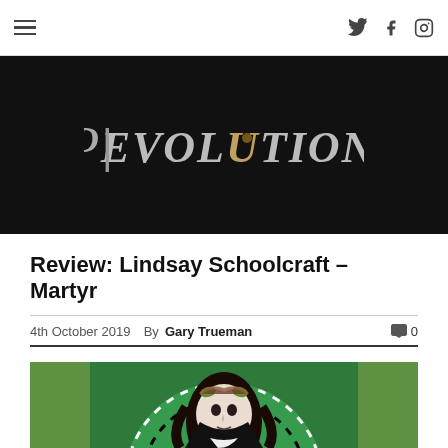Devolution Magazine navigation bar with hamburger menu and social icons (Twitter, Facebook, Instagram)
[Figure (logo): Devolution magazine logo in stylized gothic/metal font on black background]
Review: Lindsay Schoolcraft – Martyr
4th October 2019  By Gary Trueman  💬 0
[Figure (illustration): Stained glass style illustration of a pale dark-haired figure with horns and green halo background, resembling album artwork for Martyr]